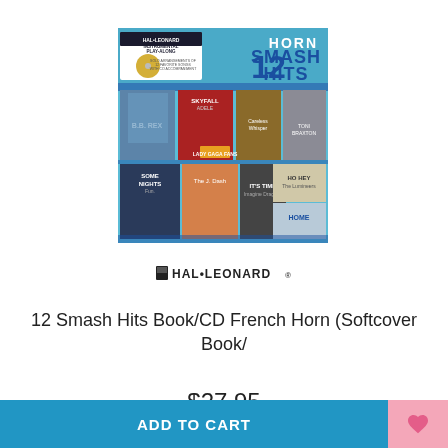[Figure (illustration): Book cover for '12 Smash Hits' Hal Leonard Instrumental Play-Along for Horn. Features a collage of album covers including Skyfall, Lady Gaga, Bruno Mars, Home, Ho Hey (The Lumineers), It's Time (Imagine Dragons), and others. Blue color scheme with gold CD image.]
[Figure (logo): Hal Leonard publisher logo in black text with small icon]
12 Smash Hits Book/CD French Horn (Softcover Book/
$27.95
ADD TO CART